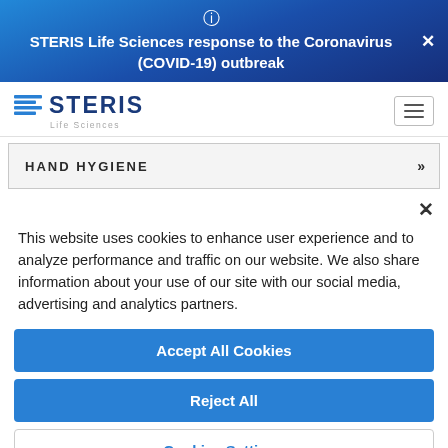STERIS Life Sciences response to the Coronavirus (COVID-19) outbreak
[Figure (logo): STERIS Life Sciences logo with wave icon and hamburger menu]
HAND HYGIENE
This website uses cookies to enhance user experience and to analyze performance and traffic on our website. We also share information about your use of our site with our social media, advertising and analytics partners.
Accept All Cookies
Reject All
Cookies Settings